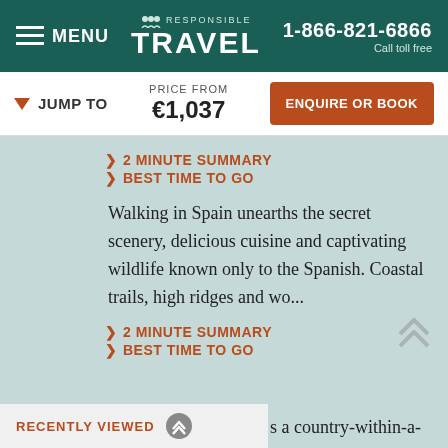MENU | RESPONSIBLE TRAVEL | 1-866-821-6866 Call toll free
JUMP TO | PRICE FROM €1,037 | ENQUIRE OR BOOK
> 2 MINUTE SUMMARY
> BEST TIME TO GO
Walking in Spain unearths the secret scenery, delicious cuisine and captivating wildlife known only to the Spanish. Coastal trails, high ridges and wo...
> 2 MINUTE SUMMARY
> BEST TIME TO GO
s a country-within-a-
RECENTLY VIEWED